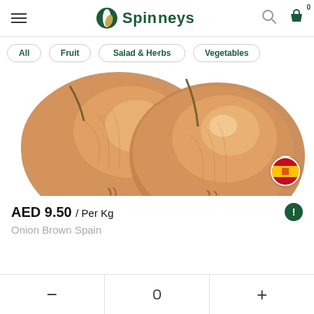Spinneys
All
Fruit
Salad & Herbs
Vegetables
[Figure (photo): Brown onions from Spain on white background, with Spanish flag badge in bottom right corner]
AED 9.50 / Per Kg
Onion Brown Spain
0